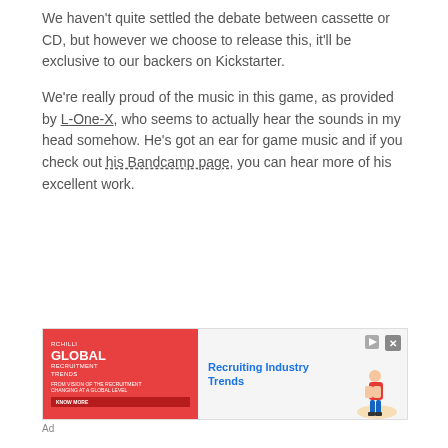We haven't quite settled the debate between cassette or CD, but however we choose to release this, it'll be exclusive to our backers on Kickstarter.
We're really proud of the music in this game, as provided by L-One-X, who seems to actually hear the sounds in my head somehow. He's got an ear for game music and if you check out his Bandcamp page, you can hear more of his excellent work.
[Figure (other): Advertisement banner for RCHilli Global Recruitment Trends report, with red background on left side, stylized graphic of person, and blue text 'Recruiting Industry Trends' on right side.]
Ad